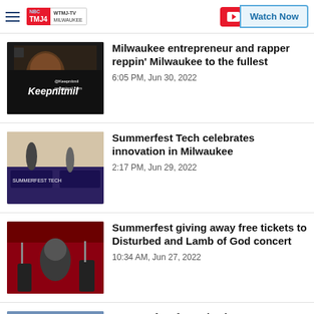WTMJ-TV Milwaukee | Watch Now
Milwaukee entrepreneur and rapper reppin' Milwaukee to the fullest
6:05 PM, Jun 30, 2022
Summerfest Tech celebrates innovation in Milwaukee
2:17 PM, Jun 29, 2022
Summerfest giving away free tickets to Disturbed and Lamb of God concert
10:34 AM, Jun 27, 2022
Summerfest fans give best